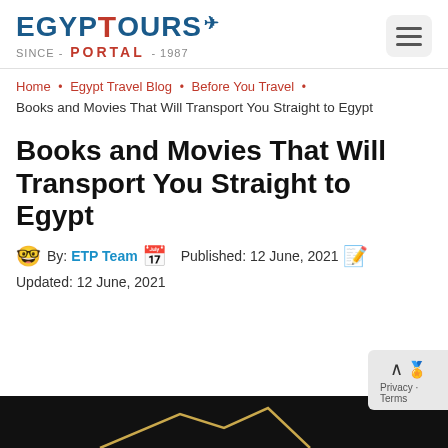[Figure (logo): Egypt Tours Portal logo with ankh symbol and airplane icon, SINCE-PORTAL-1987 text]
Home • Egypt Travel Blog • Before You Travel • Books and Movies That Will Transport You Straight to Egypt
Books and Movies That Will Transport You Straight to Egypt
By: ETP Team  Published: 12 June, 2021
Updated: 12 June, 2021
[Figure (photo): Dark banner image at bottom of page with gold geometric design]